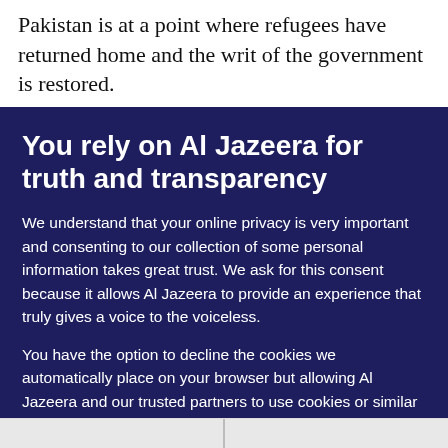Pakistan is at a point where refugees have returned home and the writ of the government is restored.
You rely on Al Jazeera for truth and transparency
We understand that your online privacy is very important and consenting to our collection of some personal information takes great trust. We ask for this consent because it allows Al Jazeera to provide an experience that truly gives a voice to the voiceless.
You have the option to decline the cookies we automatically place on your browser but allowing Al Jazeera and our trusted partners to use cookies or similar technologies helps us improve our content and offerings to you. You can change your privacy preferences at any time by selecting ‘Cookie preferences’ at the bottom of your screen. To learn more, please view our Cookie Policy.